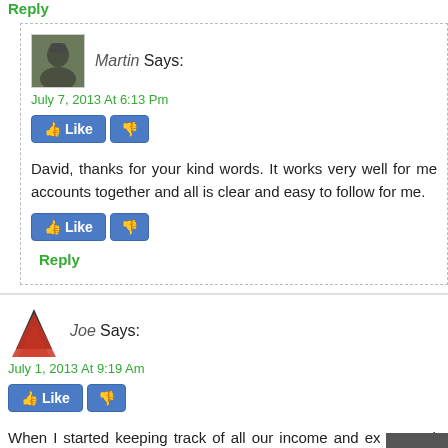Reply
Martin Says:
July 7, 2013 At 6:13 Pm
David, thanks for your kind words. It works very well for me accounts together and all is clear and easy to follow for me.
Reply
Joe Says:
July 1, 2013 At 9:19 Am
When I started keeping track of all our income and expenses, it save. We have a similar saving strategy as well and it's working o